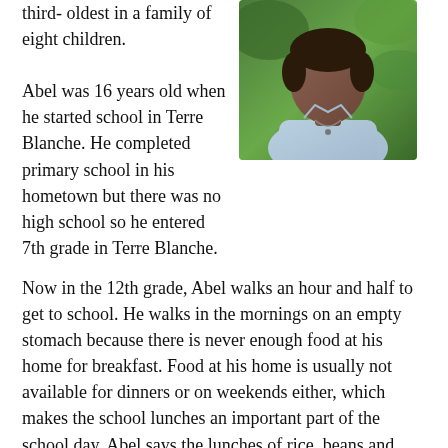third- oldest in a family of eight children.
[Figure (photo): Portrait photo of Abel, a young man wearing a light blue shirt and a necklace, photographed outdoors with green foliage in the background.]
Abel was 16 years old when he started school in Terre Blanche. He completed primary school in his hometown but there was no high school so he entered 7th grade in Terre Blanche.
Now in the 12th grade, Abel walks an hour and half to get to school. He walks in the mornings on an empty stomach because there is never enough food at his home for breakfast. Food at his home is usually not available for dinners or on weekends either, which makes the school lunches an important part of the school day. Abel says the lunches of rice, beans and sauce are very important to him and taste good.
Math, English and physics top his list of favorite subjects. Abel says the teachers in Terre Blanche are